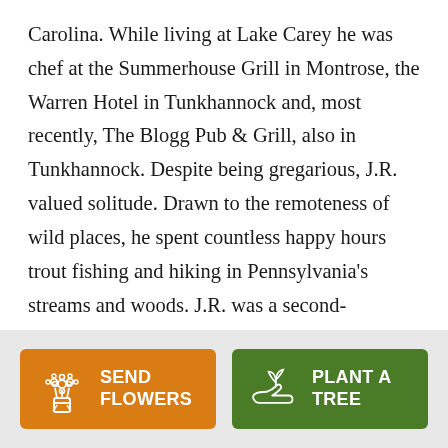Carolina. While living at Lake Carey he was chef at the Summerhouse Grill in Montrose, the Warren Hotel in Tunkhannock and, most recently, The Blogg Pub & Grill, also in Tunkhannock. Despite being gregarious, J.R. valued solitude. Drawn to the remoteness of wild places, he spent countless happy hours trout fishing and hiking in Pennsylvania's streams and woods. J.R. was a second-generation member of Black Rock Camp, located along the Pine Creek in Lycoming County. He was instrumental in recent improvements there and his craftsmanship can be seen all over the
[Figure (other): Two buttons: 'Send Flowers' (orange background with flower bouquet icon) and 'Plant a Tree' (green background with seedling/hand icon)]